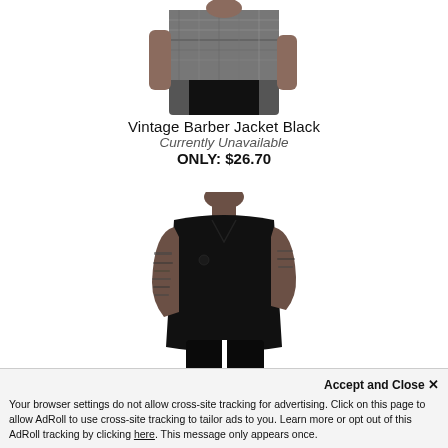[Figure (photo): Top portion of a man wearing a graphic print jacket (Vintage Barber Jacket Black), cropped at chest/torso level, shown on white background]
Vintage Barber Jacket Black
Currently Unavailable
ONLY: $26.70
[Figure (photo): Man wearing a black polo shirt (Barber Strong Polo Black), shown from neck to below waist, with tattooed arms, on white background]
Barber Strong Polo Black
Usually Ships in 24 Hours
ONLY: $38.50
Accept and Close ✕
Your browser settings do not allow cross-site tracking for advertising. Click on this page to allow AdRoll to use cross-site tracking to tailor ads to you. Learn more or opt out of this AdRoll tracking by clicking here. This message only appears once.